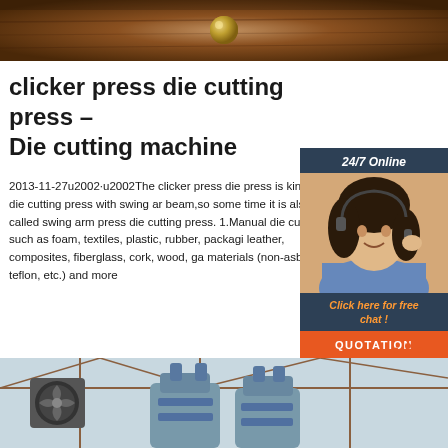[Figure (photo): Top portion of a wooden door or panel with a brass/metal knob or fitting visible, in warm brown tones]
clicker press die cutting press – Die cutting machine
2013-11-27u2002·u2002The clicker press die press is kind of die cutting press with swing arm beam,so some time it is also called swing arm press die cutting press. 1.Manual die cutting o such as foam, textiles, plastic, rubber, packagi leather, composites, fiberglass, cork, wood, ga materials (non-asbestos, teflon, etc.) and more
[Figure (photo): Customer service agent widget: dark blue/navy background with '24/7 Online' header in italic, photo of smiling woman with headset wearing blue shirt, orange italic text 'Click here for free chat !' and orange QUOTATION button]
[Figure (illustration): Orange 'TOP' navigation icon with dotted arc above the text, on white background]
[Figure (photo): Industrial machinery (blue/grey die cutting press machines) inside a factory building with steel roof structure visible]